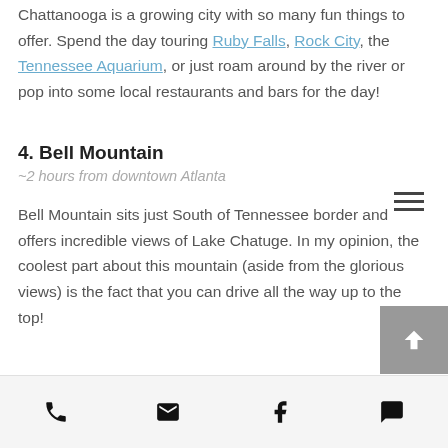Chattanooga is a growing city with so many fun things to offer. Spend the day touring Ruby Falls, Rock City, the Tennessee Aquarium, or just roam around by the river or pop into some local restaurants and bars for the day!
4. Bell Mountain
~2 hours from downtown Atlanta
Bell Mountain sits just South of Tennessee border and offers incredible views of Lake Chatuge. In my opinion, the coolest part about this mountain (aside from the glorious views) is the fact that you can drive all the way up to the top!